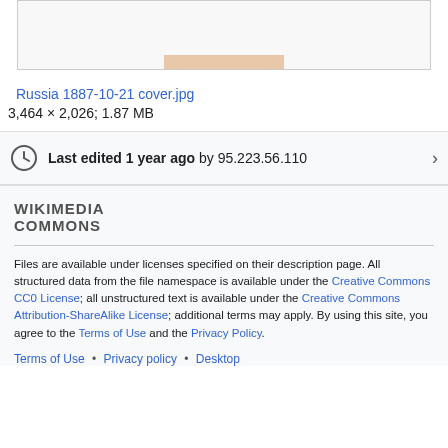[Figure (photo): Partial image thumbnail of Russia 1887-10-21 cover]
Russia 1887-10-21 cover.jpg
3,464 × 2,026; 1.87 MB
Last edited 1 year ago by 95.223.56.110
WIKIMEDIA COMMONS
Files are available under licenses specified on their description page. All structured data from the file namespace is available under the Creative Commons CC0 License; all unstructured text is available under the Creative Commons Attribution-ShareAlike License; additional terms may apply. By using this site, you agree to the Terms of Use and the Privacy Policy.
Terms of Use • Privacy policy • Desktop